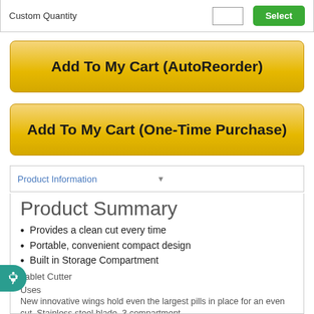Custom Quantity
Add To My Cart (AutoReorder)
Add To My Cart (One-Time Purchase)
Product Information
Product Summary
Provides a clean cut every time
Portable, convenient compact design
Built in Storage Compartment
Tablet Cutter
Uses
New innovative wings hold even the largest pills in place for an even cut. Stainless steel blade. 3 compartment